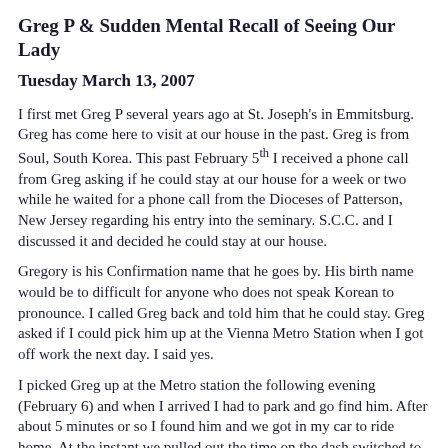Greg P & Sudden Mental Recall of Seeing Our Lady
Tuesday March 13, 2007
I first met Greg P several years ago at St. Joseph's in Emmitsburg. Greg has come here to visit at our house in the past. Greg is from Soul, South Korea. This past February 5th I received a phone call from Greg asking if he could stay at our house for a week or two while he waited for a phone call from the Dioceses of Patterson, New Jersey regarding his entry into the seminary. S.C.C. and I discussed it and decided he could stay at our house.
Gregory is his Confirmation name that he goes by. His birth name would be to difficult for anyone who does not speak Korean to pronounce. I called Greg back and told him that he could stay. Greg asked if I could pick him up at the Vienna Metro Station when I got off work the next day. I said yes.
I picked Greg up at the Metro station the following evening (February 6) and when I arrived I had to park and go find him. After about 5 minutes or so I found him and we got in my car to ride home. At the instant we pulled out the time on the dash switched to 6:33.
About 2 weeks later Greg did receive his phone call from the